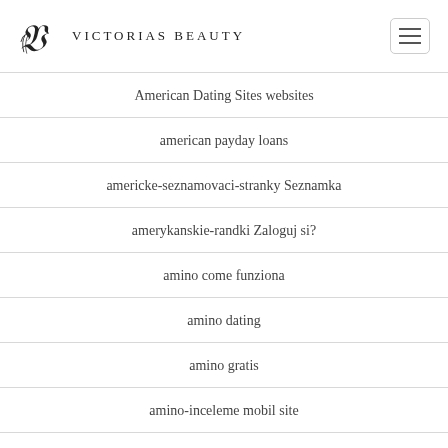Victorias Beauty
American Dating Sites websites
american payday loans
americke-seznamovaci-stranky Seznamka
amerykanskie-randki Zaloguj si?
amino come funziona
amino dating
amino gratis
amino-inceleme mobil site
amolatina como funciona